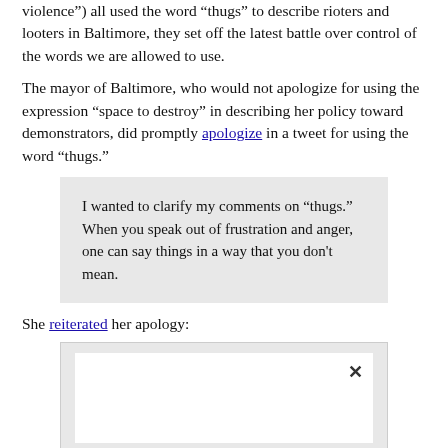violence") all used the word “thugs” to describe rioters and looters in Baltimore, they set off the latest battle over control of the words we are allowed to use.
The mayor of Baltimore, who would not apologize for using the expression “space to destroy” in describing her policy toward demonstrators, did promptly apologize in a tweet for using the word “thugs.”
I wanted to clarify my comments on "thugs." When you speak out of frustration and anger, one can say things in a way that you don't mean.
She reiterated her apology:
[Figure (screenshot): An embedded social media post widget with a white background and a close (x) button in the top right corner.]